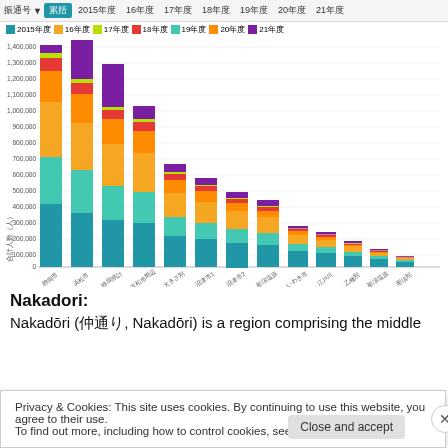[Figure (stacked-bar-chart): 都道府県別 年度別集計]
Nakadori:
Nakadōri (仲通り, Nakadōri) is a region comprising the middle
Privacy & Cookies: This site uses cookies. By continuing to use this website, you agree to their use.
To find out more, including how to control cookies, see here: Cookie Policy